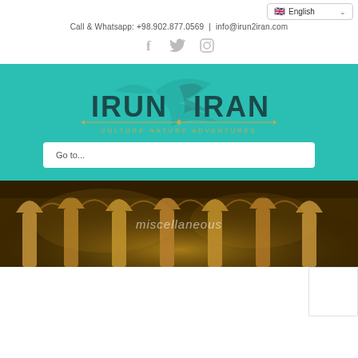English (language selector)
Call & Whatsapp: +98.902.877.0569 | info@irun2iran.com
[Figure (logo): Social media icons: Facebook, Twitter, Instagram in gray]
[Figure (logo): IRUN2IRAN logo with CULTURE NATURE ADVENTURES tagline on teal background]
Go to...
[Figure (photo): Interior of an Iranian mosque showing ornate arched columns with golden lighting. Text overlay reads 'miscellaneous']